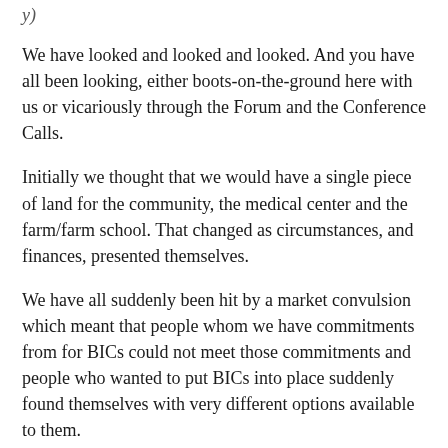We have looked and looked and looked. And you have all been looking, either boots-on-the-ground here with us or vicariously through the Forum and the Conference Calls.
Initially we thought that we would have a single piece of land for the community, the medical center and the farm/farm school. That changed as circumstances, and finances, presented themselves.
We have all suddenly been hit by a market convulsion which meant that people whom we have commitments from for BICs could not meet those commitments and people who wanted to put BICs into place suddenly found themselves with very different options available to them.
We have many people who are ready to come work and participate but needed a place to come TO so that they could help make the collective vision a reality, but lacked the means to purchase a BIC directly. For them, not having the facility meant that they were not able to begin the process of investing their talents and energies into the process of earning a BIC. Now there is a place. Y'all